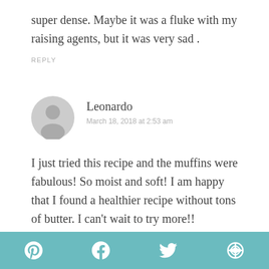super dense. Maybe it was a fluke with my raising agents, but it was very sad .
REPLY
[Figure (illustration): Generic user avatar icon — circular gray silhouette with person shape]
Leonardo
March 18, 2018 at 2:53 am
I just tried this recipe and the muffins were fabulous! So moist and soft! I am happy that I found a healthier recipe without tons of butter. I can't wait to try more!!
[Figure (other): Social sharing bottom bar with Pinterest, Facebook, Twitter, and another social icon in teal/blue-green color]